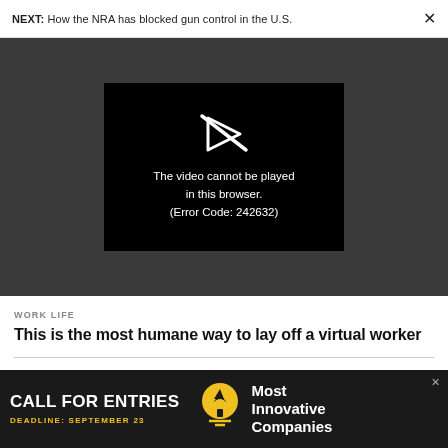NEXT: How the NRA has blocked gun control in the U.S.
[Figure (screenshot): Video player error screen on dark grey background. Black rectangle shows a broken play icon and text: The video cannot be played in this browser. (Error Code: 242632)]
WORK LIFE
This is the most humane way to lay off a virtual worker
WORK LIFE
[Figure (photo): Advertisement banner: CALL FOR ENTRIES. DEADLINE: SEPTEMBER 23. Most Innovative Companies.]